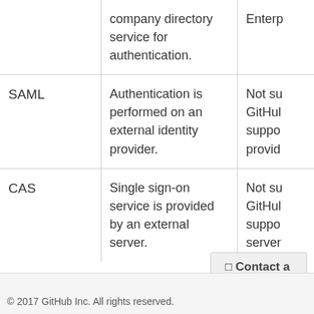|  | Description | Notes |
| --- | --- | --- |
|  | company directory service for authentication. | Enterp... |
| SAML | Authentication is performed on an external identity provider. | Not su... GitHub... suppo... provid... |
| CAS | Single sign-on service is provided by an external server. | Not su... GitHub... suppo... server... |
Contact a human
© 2017 GitHub Inc. All rights reserved.